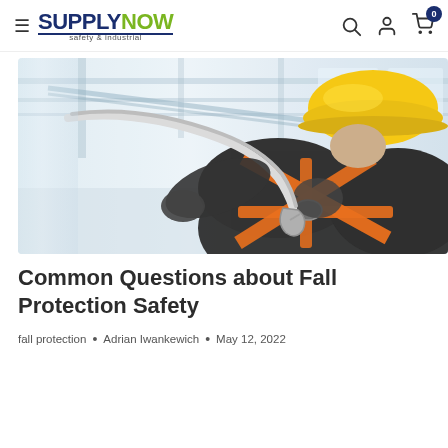SUPPLYNOW safety & industrial — navigation bar with hamburger menu, search, account, and cart icons
[Figure (photo): Worker wearing an orange and black safety harness and yellow hard hat, attaching a hook/carabiner to a rope in an industrial warehouse setting. The background shows structural beams and natural light.]
Common Questions about Fall Protection Safety
fall protection • Adrian Iwankewich • May 12, 2022